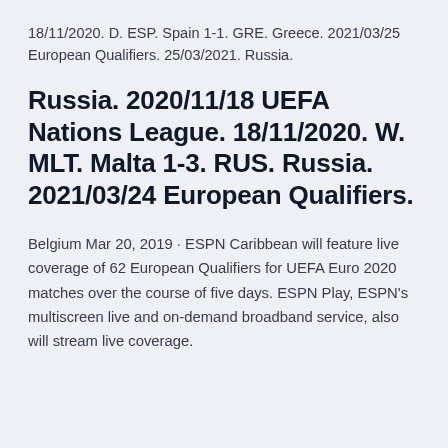18/11/2020. D. ESP. Spain 1-1. GRE. Greece. 2021/03/25 European Qualifiers. 25/03/2021. Russia.
Russia. 2020/11/18 UEFA Nations League. 18/11/2020. W. MLT. Malta 1-3. RUS. Russia. 2021/03/24 European Qualifiers.
Belgium Mar 20, 2019 · ESPN Caribbean will feature live coverage of 62 European Qualifiers for UEFA Euro 2020 matches over the course of five days. ESPN Play, ESPN's multiscreen live and on-demand broadband service, also will stream live coverage.